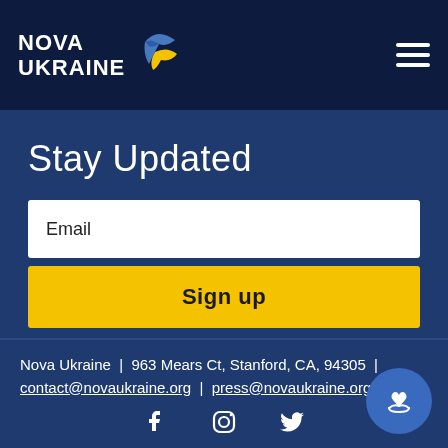Nova Ukraine
Stay Updated
Email
Sign up
Nova Ukraine | 963 Mears Ct, Stanford, CA, 94305 | contact@novaukraine.org | press@novaukraine.org